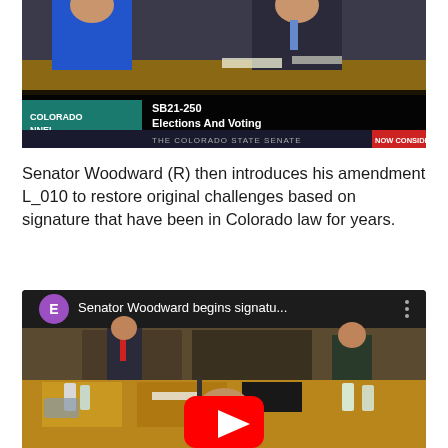[Figure (screenshot): Screenshot of Colorado Channel broadcast showing SB21-250 Elections And Voting being considered by The Colorado State Senate. Two people visible at a legislative desk. Lower bar shows 'COLORADO CHANNEL' and 'THE COLORADO STATE SENATE' with 'NOW CONSIDER' partially visible on right.]
Senator Woodward (R) then introduces his amendment L_010 to restore original challenges based on signature that have been in Colorado law for years.
[Figure (screenshot): YouTube video thumbnail showing Senator Woodward begins signatu... with a purple E circle icon and three-dot menu. Video shows Colorado State Senate chamber with Senator Woodward speaking at a desk. YouTube play button visible in center.]